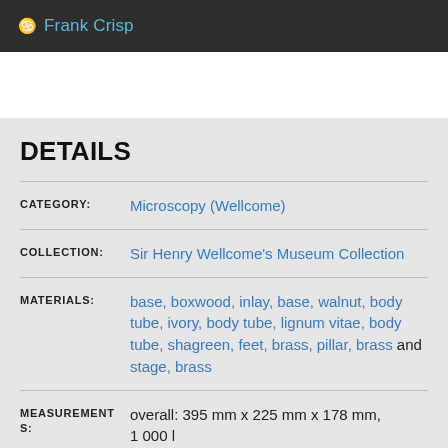Frank Crisp
DETAILS
CATEGORY: Microscopy (Wellcome)
COLLECTION: Sir Henry Wellcome's Museum Collection
MATERIALS: base, boxwood, inlay, base, walnut, body tube, ivory, body tube, lignum vitae, body tube, shagreen, feet, brass, pillar, brass and stage, brass
MEASUREMENTS: overall: 395 mm x 225 mm x 178 mm, 1 000 l